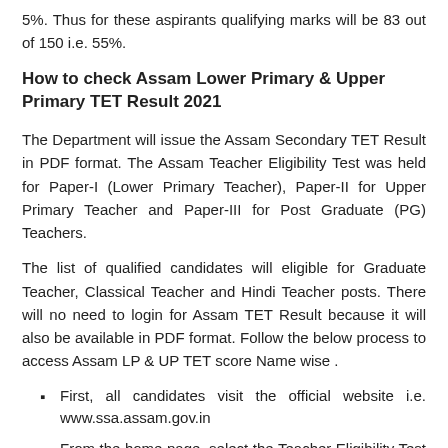5%. Thus for these aspirants qualifying marks will be 83 out of 150 i.e. 55%.
How to check Assam Lower Primary & Upper Primary TET Result 2021
The Department will issue the Assam Secondary TET Result in PDF format. The Assam Teacher Eligibility Test was held for Paper-I (Lower Primary Teacher), Paper-II for Upper Primary Teacher and Paper-III for Post Graduate (PG) Teachers.
The list of qualified candidates will eligible for Graduate Teacher, Classical Teacher and Hindi Teacher posts. There will no need to login for Assam TET Result because it will also be available in PDF format. Follow the below process to access Assam LP & UP TET score Name wise .
First, all candidates visit the official website i.e. www.ssa.assam.gov.in
From the home page, select the Teacher Eligibility Test 2021.
Choose the Lower Primary and Upper Primary Level